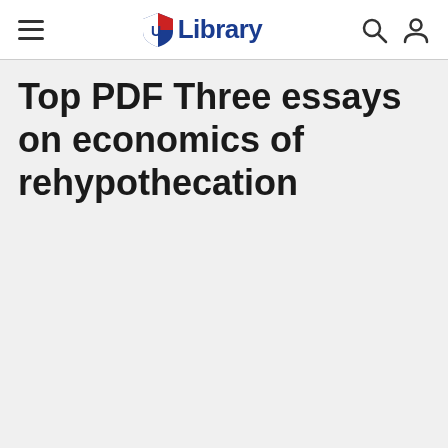Library
Top PDF Three essays on economics of rehypothecation